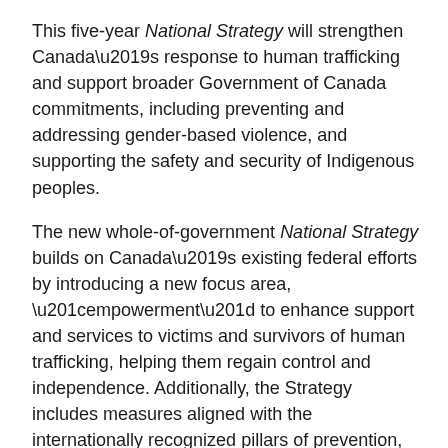This five-year National Strategy will strengthen Canada's response to human trafficking and support broader Government of Canada commitments, including preventing and addressing gender-based violence, and supporting the safety and security of Indigenous peoples.
The new whole-of-government National Strategy builds on Canada's existing federal efforts by introducing a new focus area, “empowerment” to enhance support and services to victims and survivors of human trafficking, helping them regain control and independence. Additionally, the Strategy includes measures aligned with the internationally recognized pillars of prevention, protection, prosecution and partnership. These include measures to: increase public awareness, education, and capacity-building to prevent the victimization of vulnerable and marginalized populations; strengthen the ability to identify and protect victims of human trafficking; improve criminal justice system experiences for victims and survivors; and improve domestic and international